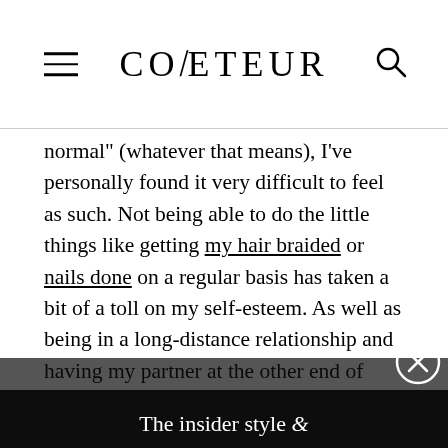COVETEUR
normal" (whatever that means), I've personally found it very difficult to feel as such. Not being able to do the little things like getting my hair braided or nails done on a regular basis has taken a bit of a toll on my self-esteem. As well as being in a long-distance relationship and having my partner at the other end of
[Figure (screenshot): Email newsletter signup modal overlay with dark background. Headline: 'The insider style & beauty essentials you need. Direct to your inbox, every day.' Email input field placeholder 'EMAIL@EXAMPLE.COM' and a SIGN UP button. Close (X) button in top-right corner.]